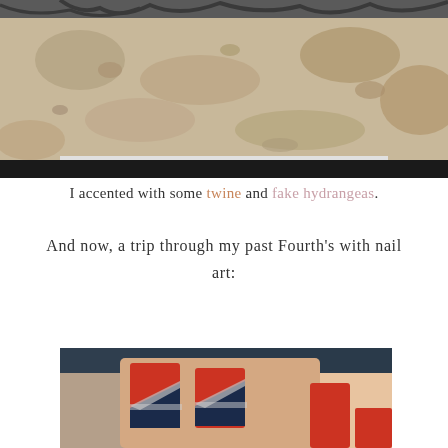[Figure (photo): Top portion of a photo showing sandy/rocky ground with some dark fur/hair visible at top edge, cropped at the bottom]
I accented with some twine and fake hydrangeas.
And now, a trip through my past Fourth's with nail art:
[Figure (photo): Close-up photo of a hand with patriotic nail art featuring red, navy blue, and silver glitter diagonal stripe design on fingernails]